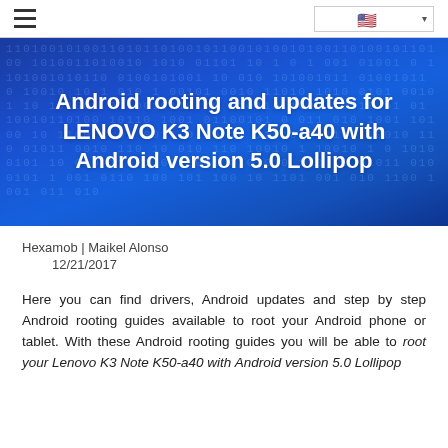[Figure (screenshot): Navigation bar with hamburger menu icon on left and US flag language selector on right]
Android rooting and updates for LENOVO K3 Note K50-a40 with Android version 5.0 Lollipop
Hexamob | Maikel Alonso
12/21/2017
Here you can find drivers, Android updates and step by step Android rooting guides available to root your Android phone or tablet. With these Android rooting guides you will be able to root your Lenovo K3 Note K50-a40 with Android version 5.0 Lollipop